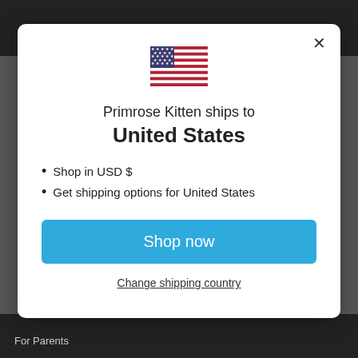[Figure (screenshot): US flag emoji rendered as SVG in the modal header]
Primrose Kitten ships to United States
Shop in USD $
Get shipping options for United States
Shop now
Change shipping country
For Parents